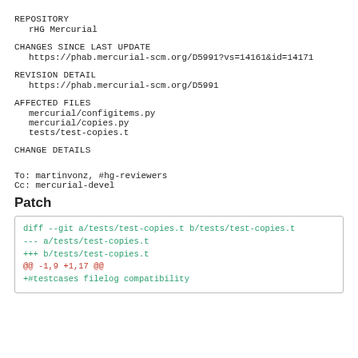REPOSITORY
rHG Mercurial
CHANGES SINCE LAST UPDATE
https://phab.mercurial-scm.org/D5991?vs=14161&id=14171
REVISION DETAIL
https://phab.mercurial-scm.org/D5991
AFFECTED FILES
mercurial/configitems.py
mercurial/copies.py
tests/test-copies.t
CHANGE DETAILS
To: martinvonz, #hg-reviewers
Cc: mercurial-devel
Patch
diff --git a/tests/test-copies.t b/tests/test-copies.t
--- a/tests/test-copies.t
+++ b/tests/test-copies.t
@@ -1,9 +1,17 @@
+#testcases filelog compatibility